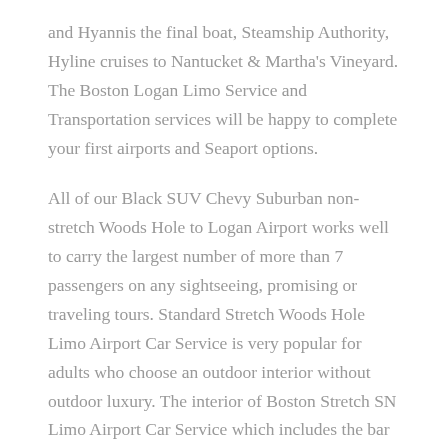and Hyannis the final boat, Steamship Authority, Hyline cruises to Nantucket & Martha's Vineyard. The Boston Logan Limo Service and Transportation services will be happy to complete your first airports and Seaport options.
All of our Black SUV Chevy Suburban non-stretch Woods Hole to Logan Airport works well to carry the largest number of more than 7 passengers on any sightseeing, promising or traveling tours. Standard Stretch Woods Hole Limo Airport Car Service is very popular for adults who choose an outdoor interior without outdoor luxury. The interior of Boston Stretch SN Limo Airport Car Service which includes the bar is definitely the perfect one in the luxury available to one. Holiday vacation or